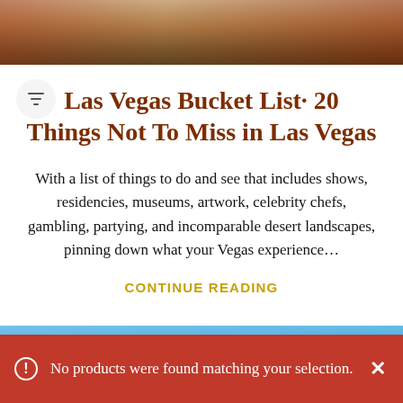[Figure (photo): Top decorative image with dark reddish-brown tones and light streaks, partially visible at top of page]
Las Vegas Bucket List· 20 Things Not To Miss in Las Vegas
With a list of things to do and see that includes shows, residencies, museums, artwork, celebrity chefs, gambling, partying, and incomparable desert landscapes, pinning down what your Vegas experience…
CONTINUE READING
[Figure (photo): Bottom partial image with blue sky tones, partially visible]
No products were found matching your selection.